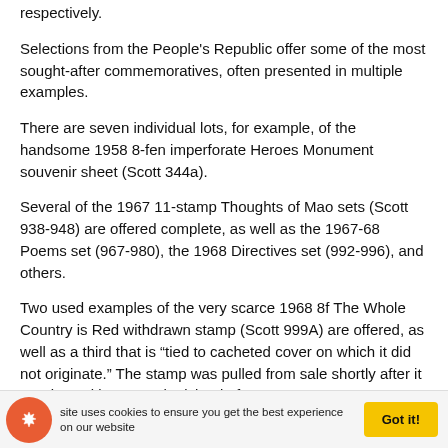respectively.
Selections from the People's Republic offer some of the most sought-after commemoratives, often presented in multiple examples.
There are seven individual lots, for example, of the handsome 1958 8-fen imperforate Heroes Monument souvenir sheet (Scott 344a).
Several of the 1967 11-stamp Thoughts of Mao sets (Scott 938-948) are offered complete, as well as the 1967-68 Poems set (967-980), the 1968 Directives set (992-996), and others.
Two used examples of the very scarce 1968 8f The Whole Country is Red withdrawn stamp (Scott 999A) are offered, as well as a third that is "tied to cacheted cover on which it did not originate." The stamp was pulled from sale shortly after it was issued because the island of
site uses cookies to ensure you get the best experience on our website